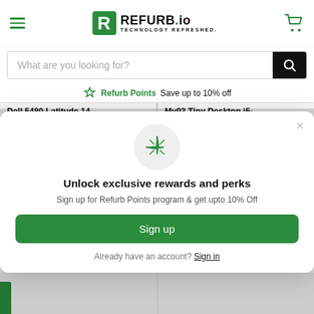[Figure (logo): REFURB.io logo with green R icon and tagline TECHNOLOGY REFRESHED.]
What are you looking for?
🏆 Refurb Points Save up to 10% off
Dell 5480 Latitude 14 Laptop i5-8886u 8Gu...
My93 Tiny Desktop i5-4870T 8Gu... 16GB...
[Figure (illustration): Sparkles/stars icon in a light gray circle]
Unlock exclusive rewards and perks
Sign up for Refurb Points program & get upto 10% Off
Sign up
Already have an account? Sign in